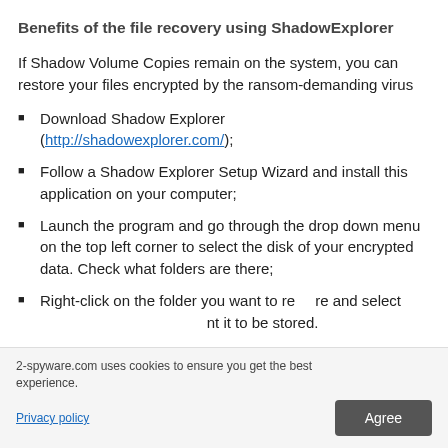Benefits of the file recovery using ShadowExplorer
If Shadow Volume Copies remain on the system, you can restore your files encrypted by the ransom-demanding virus
Download Shadow Explorer (http://shadowexplorer.com/);
Follow a Shadow Explorer Setup Wizard and install this application on your computer;
Launch the program and go through the drop down menu on the top left corner to select the disk of your encrypted data. Check what folders are there;
Right-click on the folder you want to restore and select [location where you want it to be stored].
2-spyware.com uses cookies to ensure you get the best experience.
Privacy policy
Agree